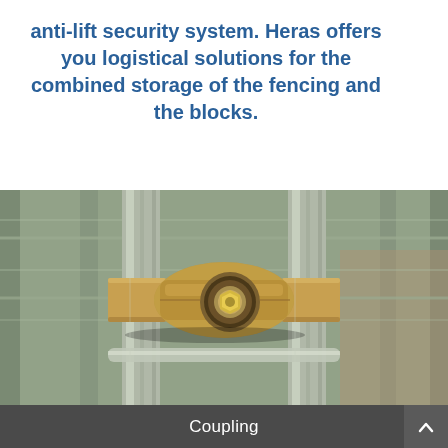anti-lift security system. Heras offers you logistical solutions for the combined storage of the fencing and the blocks.
[Figure (photo): Close-up photograph of a metal coupling/clamp connecting vertical tubular fence posts on a wire mesh security fence. The coupling is a bronze/golden colored metal bracket with a central bolt mechanism, clamped around two vertical grey galvanized steel tubes.]
Coupling